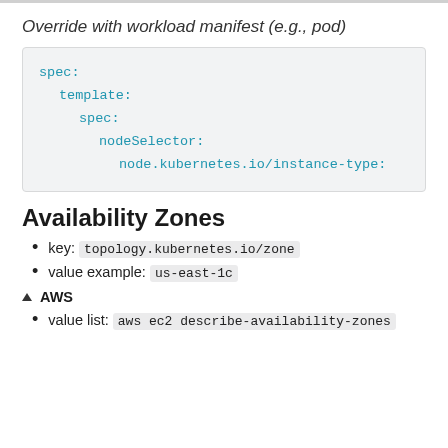Override with workload manifest (e.g., pod)
spec:
  template:
    spec:
      nodeSelector:
        node.kubernetes.io/instance-type:
Availability Zones
key: topology.kubernetes.io/zone
value example: us-east-1c
▲ AWS
value list: aws ec2 describe-availability-zones